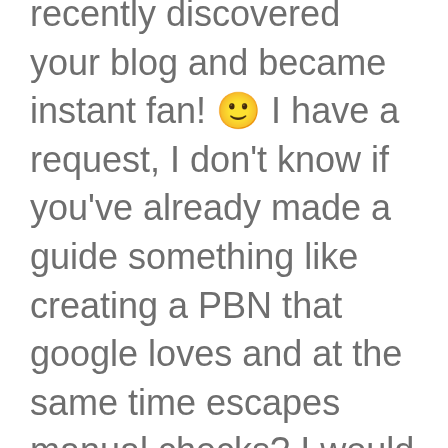recently discovered your blog and became instant fan! 🙂 I have a request, I don't know if you've already made a guide something like creating a PBN that google loves and at the same time escapes manual checks? I would like to know how do you create it from scratch. From how to pick domain name, hosting, IPs, logging in anonymously, setting them up (with topic relevance, keyword usage etc.) and how to write content for them to make them legit at your perfection.